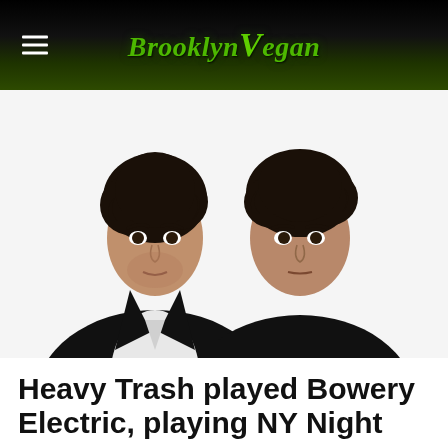BrooklynVegan
[Figure (photo): Two men with dark curly hair posed against white background. Left man wears black blazer with white shirt, right man wears black shirt. Both have serious expressions.]
Heavy Trash played Bowery Electric, playing NY Night